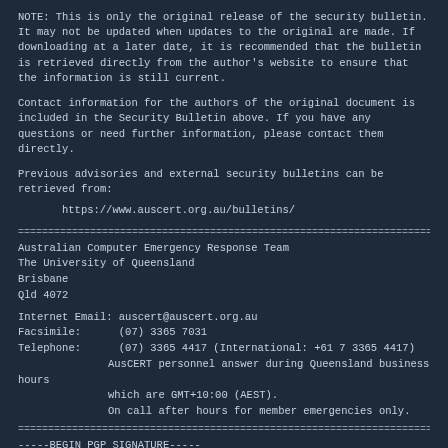NOTE: This is only the original release of the security bulletin. It may not be updated when updates to the original are made. If downloading at a later date, it is recommended that the bulletin is retrieved directly from the author's website to ensure that the information is still current.
Contact information for the authors of the original document is included in the Security Bulletin above. If you have any questions or need further information, please contact them directly.
Previous advisories and external security bulletins can be retrieved from:
https://www.auscert.org.au/bulletins/
===========================================================================
Australian Computer Emergency Response Team
The University of Queensland
Brisbane
Qld 4072
Internet Email: auscert@auscert.org.au
Facsimile:      (07) 3365 7031
Telephone:      (07) 3365 4417 (International: +61 7 3365 4417)
                AusCERT personnel answer during Queensland business hours
                which are GMT+10:00 (AEST).
                On call after hours for member emergencies only.
===========================================================================
-----BEGIN PGP SIGNATURE-----
Comment: http://www.auscert.org.au/render.html?it=1967
iQIVAwUBXBcMbWaOgq3Tt24GAQjiVA/W1PkcdFv64ANCPb3BJAF7G0F26ju
iVko87Nw32aiCOmqiH5z5/SRV9QcELrvpoUMujsPpkkCGjiEaiwOpp4v1GOZPi
eFxF2vpNbenOkJhY1eDMwq1MADi9bbPF4WMYS8yVR1QXbJWf7MXw2bUi